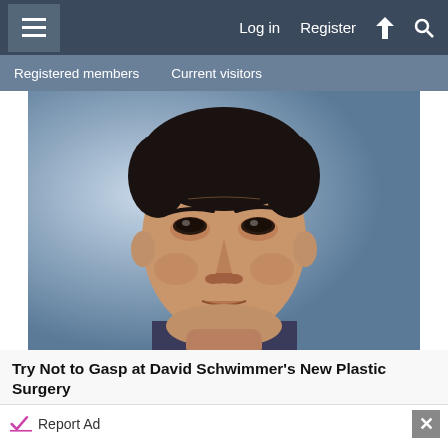Log in  Register
Registered members  Current visitors
[Figure (photo): Close-up photo of a man with dark hair, appearing to be a celebrity (resembling David Schwimmer), looking slightly upward with a serious expression, wearing a dark shirt, with a blurred blue-grey background.]
Try Not to Gasp at David Schwimmer's New Plastic Surgery
Report Ad